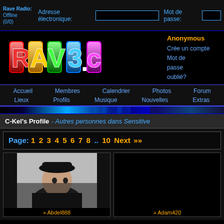Rave Radio: Offline (0/0) | Adresse électronique: [input] Mot de passe: [input]
[Figure (logo): rave3.ca colorful logo on black background]
Anonymous
Crée un compte
Mot de passe oublié?
Accueil  Membres  Calendrier  Photos  Forum  Lieux  Profils  Musique  Nouvelles  Extras
C-Kel's Profile - Autres personnes dans Sensitive
Page: 1 2 3 4 5 6 7 8 .. 10 Next »»
[Figure (photo): Profile photo of Abdel888 - person wearing black cap]
» Abdel888
[Figure (photo): Profile photo of Adam420 - blank/dark image]
» Adam420